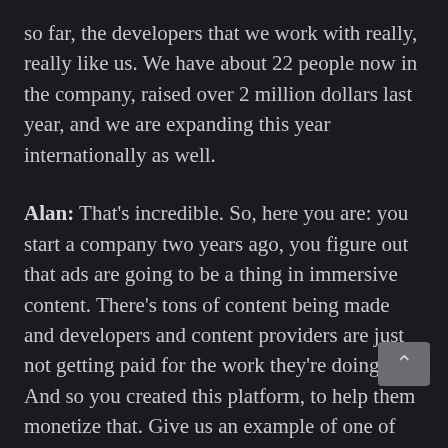so far, the developers that we work with really, really like us. We have about 22 people now in the company, raised over 2 million dollars last year, and we are expanding this year internationally as well.
Alan: That's incredible. So, here you are: you start a company two years ago, you figure out that ads are going to be a thing in immersive content. There's tons of content being made and developers and content providers are just not getting paid for the work they're doing. And so you created this platform, to help them monetize that. Give us an example of one of the best ways that this has been used to date.
Sam: There's a lot of really interesting ways. A very simple way is game developers, game studios; a few people that somehow got an app that is very popular